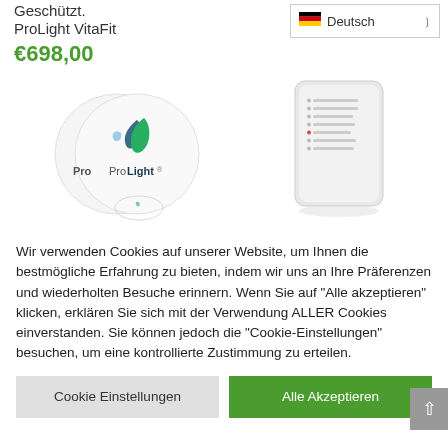Geschützt. ProLight VitaFit
€698,00
[Figure (screenshot): ProLight logo on circular sticker and a white electronic device/controller with indicator lights]
Wir verwenden Cookies auf unserer Website, um Ihnen die bestmögliche Erfahrung zu bieten, indem wir uns an Ihre Präferenzen und wiederholten Besuche erinnern. Wenn Sie auf "Alle akzeptieren" klicken, erklären Sie sich mit der Verwendung ALLER Cookies einverstanden. Sie können jedoch die "Cookie-Einstellungen" besuchen, um eine kontrollierte Zustimmung zu erteilen.
Cookie Einstellungen
Alle Akzeptieren